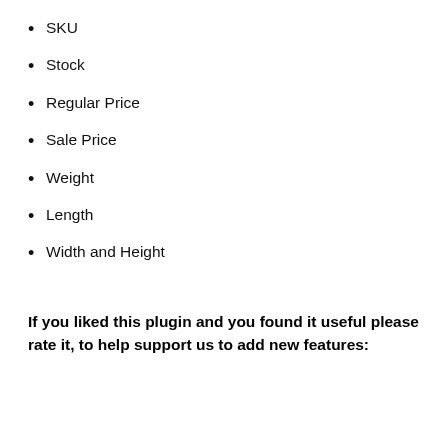SKU
Stock
Regular Price
Sale Price
Weight
Length
Width and Height
If you liked this plugin and you found it useful please rate it, to help support us to add new features: